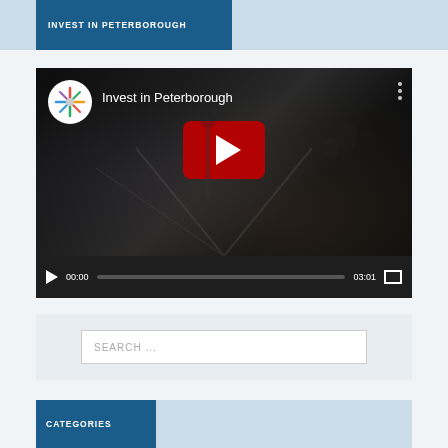INVEST IN PETERBOROUGH
[Figure (screenshot): YouTube video thumbnail showing 'Invest in Peterborough' video with railway station scene and people in background. Video controls show 00:00 start time and 03:01 duration. Large red play button in center.]
SEARCH ...
CATEGORIES